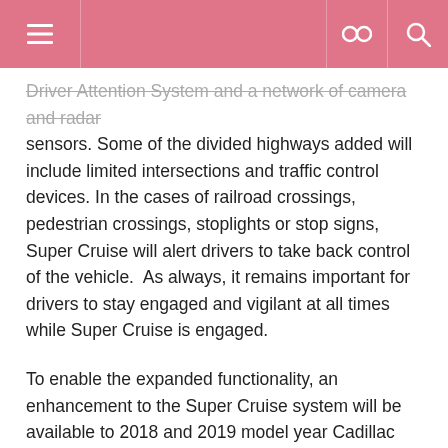[navigation bar with menu, link, and search icons]
Driver Attention System and a network of camera and radar sensors. Some of the divided highways added will include limited intersections and traffic control devices. In the cases of railroad crossings, pedestrian crossings, stoplights or stop signs, Super Cruise will alert drivers to take back control of the vehicle. As always, it remains important for drivers to stay engaged and vigilant at all times while Super Cruise is engaged.
To enable the expanded functionality, an enhancement to the Super Cruise system will be available to 2018 and 2019 model year Cadillac CT6 owners through their Cadillac dealer. Following the completion of the system enhancement, the new, additional map miles will be sent to customer vehicles over the air throughout the summer and fall.
In addition to the mileage expansion, the software update